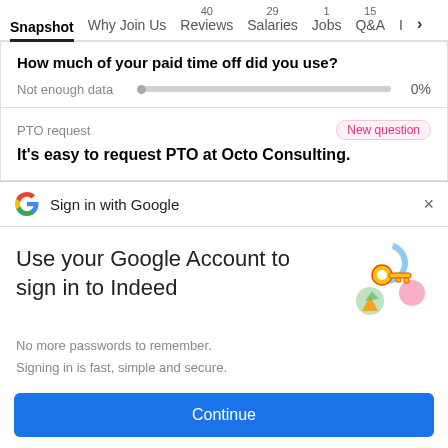Snapshot | Why Join Us | 40 Reviews | 29 Salaries | 1 Jobs | 15 Q&A | I >
How much of your paid time off did you use?
Not enough data   0%
PTO request   New question
It's easy to request PTO at Octo Consulting.
Sign in with Google
Use your Google Account to sign in to Indeed
No more passwords to remember. Signing in is fast, simple and secure.
Continue